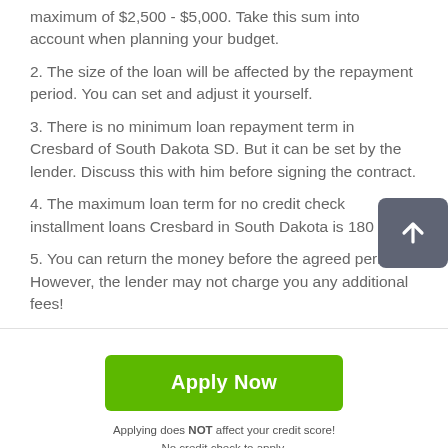maximum of $2,500 - $5,000. Take this sum into account when planning your budget.
2. The size of the loan will be affected by the repayment period. You can set and adjust it yourself.
3. There is no minimum loan repayment term in Cresbard of South Dakota SD. But it can be set by the lender. Discuss this with him before signing the contract.
4. The maximum loan term for no credit check installment loans Cresbard in South Dakota is 180 days.
5. You can return the money before the agreed period. However, the lender may not charge you any additional fees!
[Figure (other): Green 'Apply Now' button]
Applying does NOT affect your credit score!
No credit check to apply.